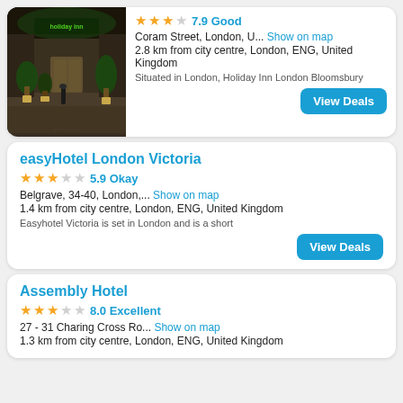[Figure (photo): Hotel exterior photo of Holiday Inn London Bloomsbury at night with green lit signage and potted plants]
7.9 Good
Coram Street, London, U...  Show on map
2.8 km from city centre, London, ENG, United Kingdom
Situated in London, Holiday Inn London Bloomsbury
View Deals
easyHotel London Victoria
5.9 Okay
Belgrave, 34-40, London,...  Show on map
1.4 km from city centre, London, ENG, United Kingdom
Easyhotel Victoria is set in London and is a short
View Deals
Assembly Hotel
8.0 Excellent
27 - 31 Charing Cross Ro...  Show on map
1.3 km from city centre, London, ENG, United Kingdom